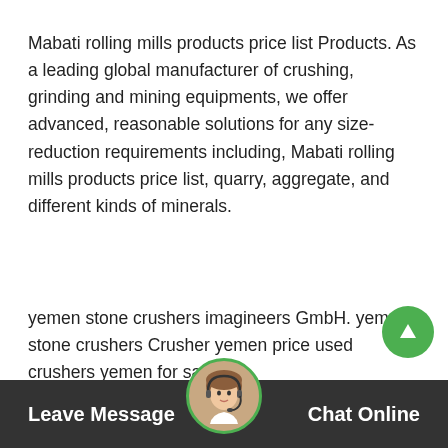Mabati rolling mills products price list Products. As a leading global manufacturer of crushing, grinding and mining equipments, we offer advanced, reasonable solutions for any size-reduction requirements including, Mabati rolling mills products price list, quarry, aggregate, and different kinds of minerals.
yemen stone crushers imagineers GmbH. yemen stone crushers Crusher yemen price used crushers yemen for sale radiusharbourheightsmazgaon 30 400th Portable Stone Crushers Yemen For Sale hot sale quarry mobile crushing plant for called hydraulic impact is the newest for sale in yemen with good price for sale portable crushermobile stone mini pc 200 engrinding used stone crusher plant ...
Leave Message   Chat Online